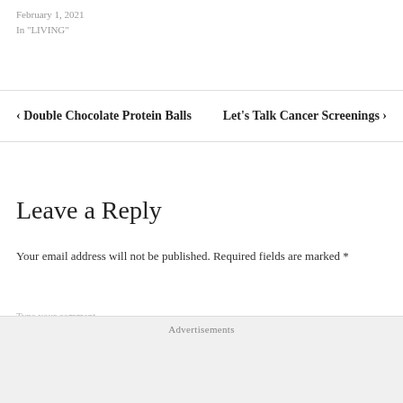February 1, 2021
In "LIVING"
< Double Chocolate Protein Balls
Let's Talk Cancer Screenings >
Leave a Reply
Your email address will not be published. Required fields are marked *
Advertisements